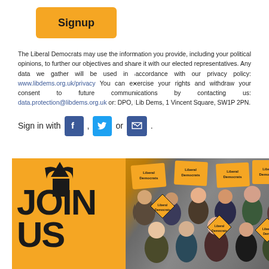[Figure (other): Orange Signup button with bold black text]
The Liberal Democrats may use the information you provide, including your political opinions, to further our objectives and share it with our elected representatives. Any data we gather will be used in accordance with our privacy policy: www.libdems.org.uk/privacy You can exercise your rights and withdraw your consent to future communications by contacting us: data.protection@libdems.org.uk or: DPO, Lib Dems, 1 Vincent Square, SW1P 2PN.
Sign in with [Facebook], [Twitter] or [Email].
[Figure (photo): Liberal Democrats JOIN US promotional image with orange background showing JOIN text on left and crowd of people holding Liberal Democrats signs on right]